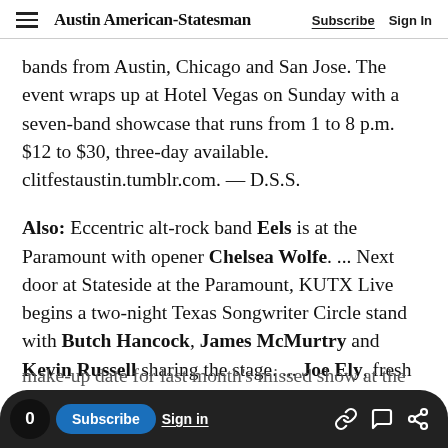Austin American-Statesman | Subscribe | Sign In
bands from Austin, Chicago and San Jose. The event wraps up at Hotel Vegas on Sunday with a seven-band showcase that runs from 1 to 8 p.m. $12 to $30, three-day available. clitfestaustin.tumblr.com. — D.S.S.
Also: Eccentric alt-rock band Eels is at the Paramount with opener Chelsea Wolfe. ... Next door at Stateside at the Paramount, KUTX Live begins a two-night Texas Songwriter Circle stand with Butch Hancock, James McMurtry and Kevin Russell sharing the stage. ... Joe Ely, fresh from his guest appearance with Bruce
make-up date for last month's missed show at the
0 | Subscribe | Sign in